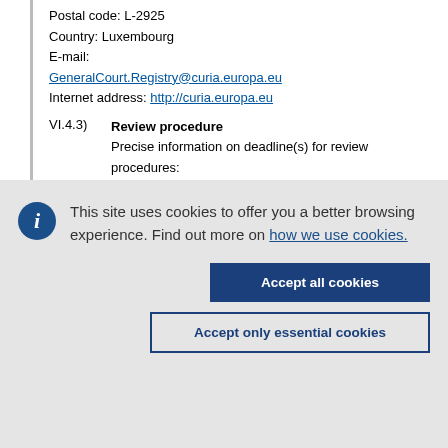Postal code: L-2925
Country: Luxembourg
E-mail:
GeneralCourt.Registry@curia.europa.eu
Internet address: http://curia.europa.eu
VI.4.3) Review procedure
Precise information on deadline(s) for review procedures:
Please refer to the contract documents
This site uses cookies to offer you a better browsing experience. Find out more on how we use cookies.
Accept all cookies
Accept only essential cookies